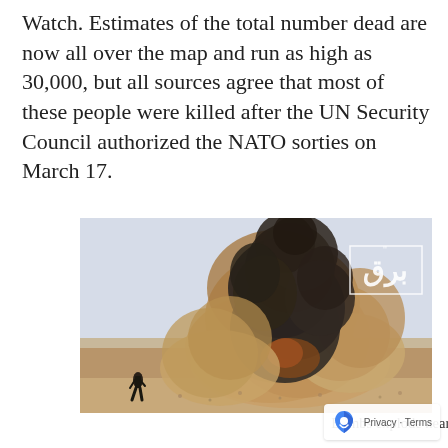Watch. Estimates of the total number dead are now all over the map and run as high as 30,000, but all sources agree that most of these people were killed after the UN Security Council authorized the NATO sorties on March 17.
[Figure (photo): Large explosion with black and brown smoke billowing upward in a desert landscape near Brega, Libya. A person is visible running in the lower left. An Arabic TV station watermark/logo is visible in the upper right corner.]
Bombs explode near Brega, Libya in March 2011. (B[BC] Network / Flickr)